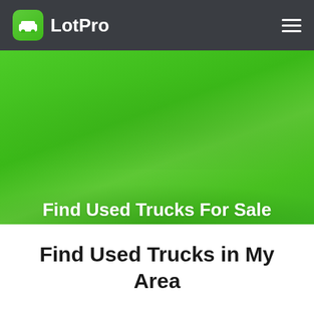LotPro
[Figure (screenshot): Green hero banner background with trees/landscape faintly visible]
Find Used Trucks For Sale
Find Used Trucks in My Area